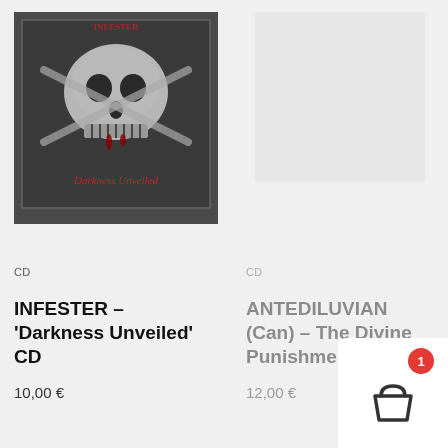[Figure (photo): Album cover for INFESTER Darkness Unveiled CD — dark metal artwork featuring a skull with crossbones and red gothic text 'Darkness Unveiled']
CD
INFESTER – 'Darkness Unveiled' CD
10,00 €
[Figure (photo): Faded/ghost second product image placeholder on the right]
CD
ANTEDILUVIAN (Can) – The Divine Punishment CD
12,00 €